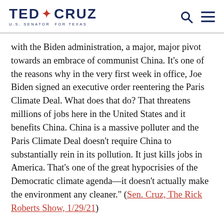TED CRUZ U.S. SENATOR FOR TEXAS
with the Biden administration, a major, major pivot towards an embrace of communist China. It's one of the reasons why in the very first week in office, Joe Biden signed an executive order reentering the Paris Climate Deal. What does that do? That threatens millions of jobs here in the United States and it benefits China. China is a massive polluter and the Paris Climate Deal doesn't require China to substantially rein in its pollution. It just kills jobs in America. That's one of the great hypocrisies of the Democratic climate agenda—it doesn't actually make the environment any cleaner." (Sen. Cruz, The Rick Roberts Show, 1/29/21)
LISTEN: Cruz on the Rick Roberts Show Discusses Pres. Biden's Nominees, Impeachment, China, & GameStop